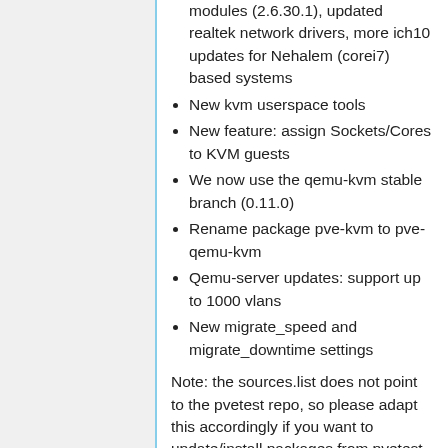modules (2.6.30.1), updated realtek network drivers, more ich10 updates for Nehalem (corei7) based systems
New kvm userspace tools
New feature: assign Sockets/Cores to KVM guests
We now use the qemu-kvm stable branch (0.11.0)
Rename package pve-kvm to pve-qemu-kvm
Qemu-server updates: support up to 1000 vlans
New migrate_speed and migrate_downtime settings
Note: the sources.list does not point to the pvetest repo, so please adapt this accordingly if you want to update/install packages from pvetest
Proxmox VE 1.4 (release ...